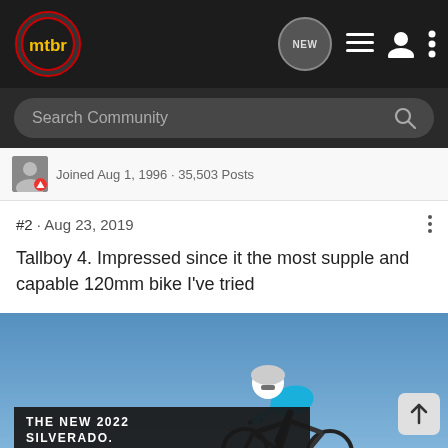mtbr - navigation bar with logo and icons
Search Community
Joined Aug 1, 1996 · 35,503 Posts
#2 · Aug 23, 2019
Tallboy 4. Impressed since it the most supple and capable 120mm bike I've tried
[Figure (photo): Mountain biker riding downhill against blue sky, with a Chevrolet Silverado 2022 advertisement overlay at the bottom]
THE NEW 2022 SILVERADO. Explore | CHEVROLET